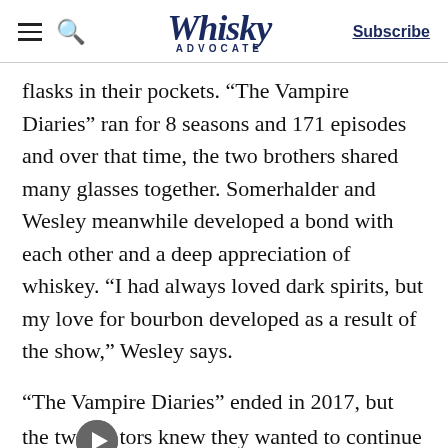Whisky Advocate | Subscribe
flasks in their pockets. “The Vampire Diaries” ran for 8 seasons and 171 episodes and over that time, the two brothers shared many glasses together. Somerhalder and Wesley meanwhile developed a bond with each other and a deep appreciation of whiskey. “I had always loved dark spirits, but my love for bourbon developed as a result of the show,” Wesley says.
“The Vampire Diaries” ended in 2017, but the two actors knew they wanted to continue collaborating. They landed on, what else, but a